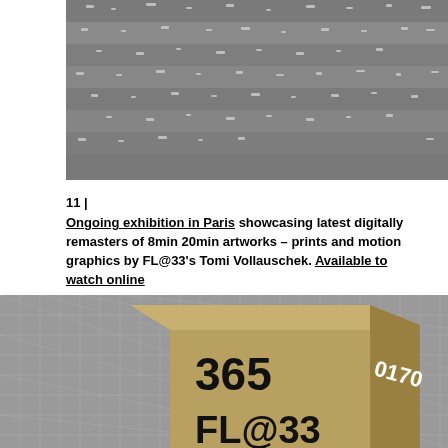[Figure (photo): Abstract grayscale photograph showing scattered white/light fragments or particles scattered across horizontal striped bands on a dark gray background]
11 | Ongoing exhibition in Paris showcasing latest digitally remasters of 8min 20min artworks – prints and motion graphics by FL@33's Tomi Vollauschek. Available to watch online
[Figure (photo): Photo of a 3D golden/tan colored box or cube object with black text '365 FL@33' on front face and white text '0170' on the side face, placed on a gray grid cutting mat background]